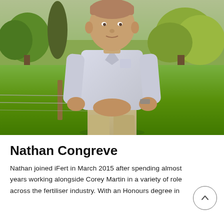[Figure (photo): Outdoor photograph of Nathan Congreve, a man wearing a light blue/grey check long-sleeve shirt and khaki pants, standing in front of a wire fence with a wooden post. Green grass field and trees visible in the background under an overcast sky.]
Nathan Congreve
Nathan joined iFert in March 2015 after spending almost years working alongside Corey Martin in a variety of roles across the fertiliser industry. With an Honours degree in